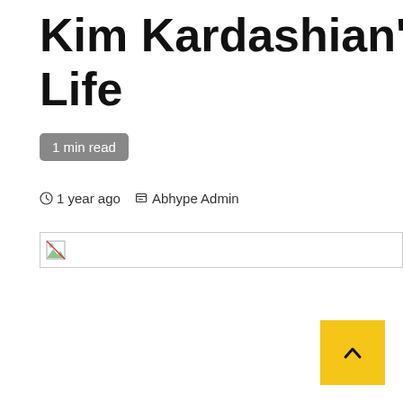Kim Kardashian's Feelings On Life
1 min read
1 year ago  Abhype Admin
[Figure (photo): Broken/unloaded image placeholder]
[Figure (other): Back to top button with upward chevron, yellow/gold background]